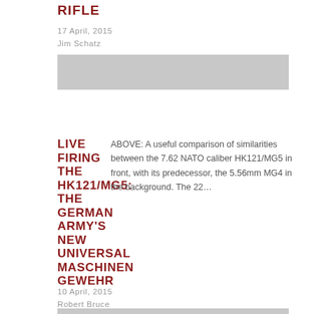RIFLE
17 April, 2015
Jim Schatz
[Figure (photo): Gray placeholder image bar]
LIVE FIRING THE HK121/MG5: THE GERMAN ARMY'S NEW UNIVERSAL MASCHINEN GEWEHR
ABOVE: A useful comparison of similarities between the 7.62 NATO caliber HK121/MG5 in front, with its predecessor, the 5.56mm MG4 in the background. The 22…
10 April, 2015
Robert Bruce
[Figure (photo): Gray placeholder image bar at bottom]